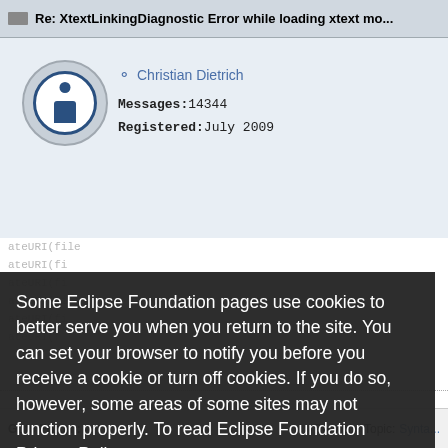Re: XtextLinkingDiagnostic Error while loading xtext mo...
Christian Dietrich
Messages: 14344
Registered: July 2009
ateURI(file
ateURI(fi
ateURI(fi
ateURI(fi
ateURI(fi
ateURI(f
Some Eclipse Foundation pages use cookies to better serve you when you return to the site. You can set your browser to notify you before you receive a cookie or turn off cookies. If you do so, however, some areas of some sites may not function properly. To read Eclipse Foundation Privacy Policy click here.
Decline
Allow cookies
Goto Forum:     Previous Topic:  Synta...